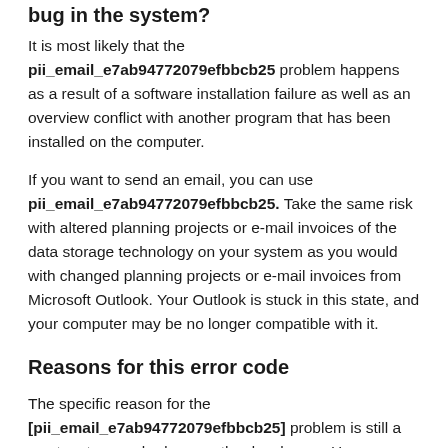bug in the system?
It is most likely that the pii_email_e7ab94772079efbbcb25 problem happens as a result of a software installation failure as well as an overview conflict with another program that has been installed on the computer.
If you want to send an email, you can use pii_email_e7ab94772079efbbcb25. Take the same risk with altered planning projects or e-mail invoices of the data storage technology on your system as you would with changed planning projects or e-mail invoices from Microsoft Outlook. Your Outlook is stuck in this state, and your computer may be no longer compatible with it.
Reasons for this error code
The specific reason for the [pii_email_e7ab94772079efbbcb25] problem is still a mystery to everybody, even the developers. However, the following are some of the possible causes for this